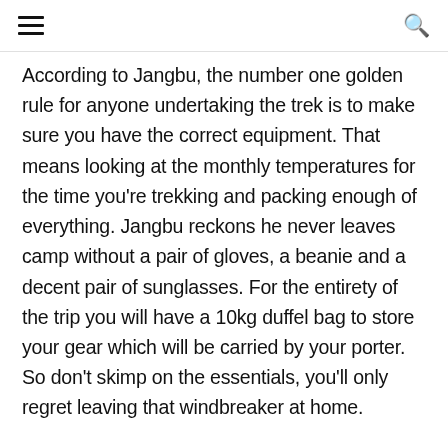☰ 🔍
According to Jangbu, the number one golden rule for anyone undertaking the trek is to make sure you have the correct equipment. That means looking at the monthly temperatures for the time you're trekking and packing enough of everything. Jangbu reckons he never leaves camp without a pair of gloves, a beanie and a decent pair of sunglasses. For the entirety of the trip you will have a 10kg duffel bag to store your gear which will be carried by your porter. So don't skimp on the essentials, you'll only regret leaving that windbreaker at home.